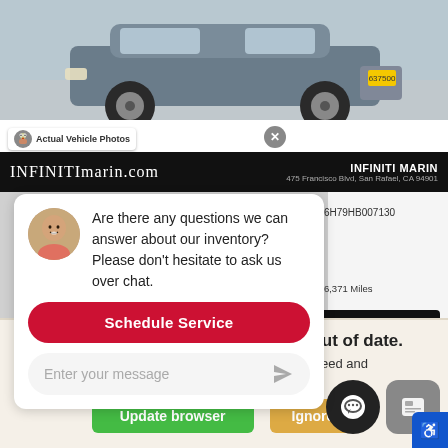[Figure (photo): Photo of a gray SUV vehicle (rear-quarter view) on a dealer lot background]
Actual Vehicle Photos
[Figure (screenshot): Dealer website banner showing INFINITImarin.com logo and INFINITI MARIN / 475 Francisco Blvd, San Rafael, CA 94901]
INFINITImarin.com
INFINITI MARIN
475 Francisco Blvd, San Rafael, CA 94901
Are there any questions we can answer about our inventory? Please don't hesitate to ask us over chat.
Schedule Service
VIN: 5FNYF6H79HB007130
d Automatic w/OD 56,371 Miles
Dealer Asking Price
$28,990
website and our service.
Enter your message
Your web browser (iOS 11) is out of date.
Update your browser for more security, speed and the best experience on this
Update browser
Ignore